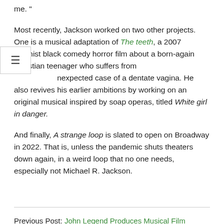me. "
Most recently, Jackson worked on two other projects. One is a musical adaptation of The teeth, a 2007 feminist black comedy horror film about a born-again Christian teenager who suffers from unexpected case of a dentate vagina. He also revives his earlier ambitions by working on an original musical inspired by soap operas, titled White girl in danger.
And finally, A strange loop is slated to open on Broadway in 2022. That is, unless the pandemic shuts theaters down again, in a weird loop that no one needs, especially not Michael R. Jackson.
Previous Post: John Legend Produces Musical Film Phantom of the Opera in Modern New Orleans: Reports
Next Post: An absurd new musical adaptation of ‘Mrs. Doubtfire ‘at